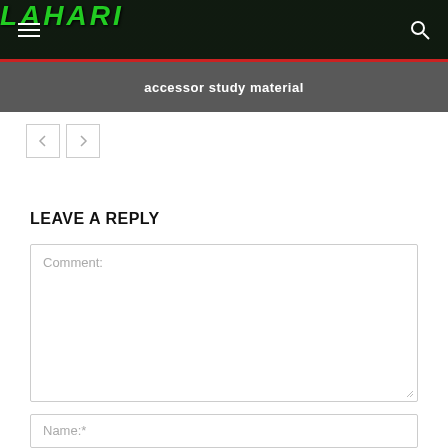LAHARI
accessor study material
LEAVE A REPLY
Comment:
Name:*